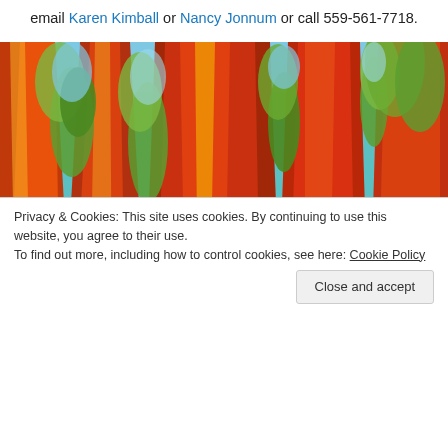email Karen Kimball or Nancy Jonnum or call 559-561-7718.
[Figure (illustration): Colorful stylized painting of giant sequoia/redwood tree trunks with vivid red-orange bark, green foliage, blue sky between trunks.]
Privacy & Cookies: This site uses cookies. By continuing to use this website, you agree to their use.
To find out more, including how to control cookies, see here: Cookie Policy